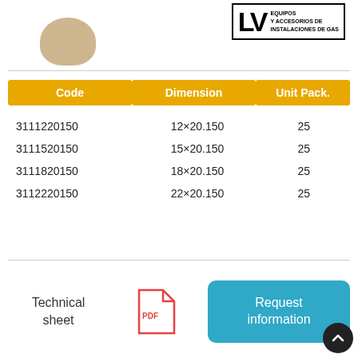[Figure (photo): Product photo of a tan/beige fitting component, top cropped]
[Figure (logo): LV logo box with text: EQUIPOS Y ACCESORIOS DE INSTALACIONES DE GAS]
| Code | Dimension | Unit Pack. |
| --- | --- | --- |
| 3111220150 | 12×20.150 | 25 |
| 3111520150 | 15×20.150 | 25 |
| 3111820150 | 18×20.150 | 25 |
| 3112220150 | 22×20.150 | 25 |
Technical sheet
[Figure (other): PDF icon (red document icon)]
Request information